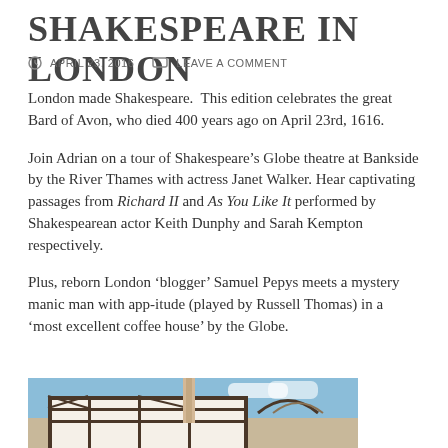SHAKESPEARE IN LONDON
APRIL 23, 2016   LEAVE A COMMENT
London made Shakespeare. This edition celebrates the great Bard of Avon, who died 400 years ago on April 23rd, 1616.
Join Adrian on a tour of Shakespeare’s Globe theatre at Bankside by the River Thames with actress Janet Walker. Hear captivating passages from Richard II and As You Like It performed by Shakespearean actor Keith Dunphy and Sarah Kempton respectively.
Plus, reborn London ‘blogger’ Samuel Pepys meets a mystery manic man with app-itude (played by Russell Thomas) in a ‘most excellent coffee house’ by the Globe.
[Figure (photo): Photo of Shakespeare's Globe Theatre exterior with timber frame and arched roof structure, blue sky visible in background]